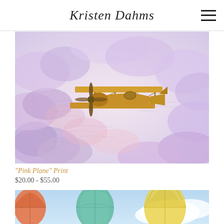Kristen Dahms
[Figure (illustration): Watercolor painting of a vintage yellow biplane flying through pink and purple clouds with handwritten script notes in the background]
"Pink Plane" Print
$20.00 - $55.00
[Figure (illustration): Watercolor painting of colorful hot air balloons floating among blue and white clouds with detailed map-like patterns]